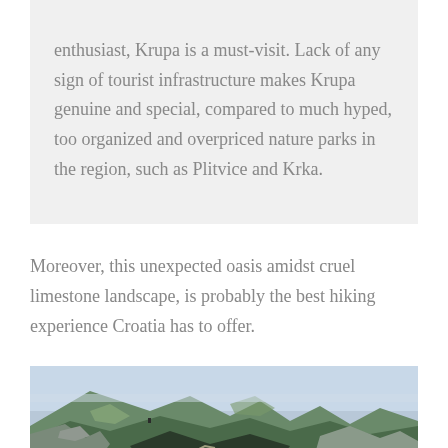enthusiast, Krupa is a must-visit. Lack of any sign of tourist infrastructure makes Krupa genuine and special, compared to much hyped, too organized and overpriced nature parks in the region, such as Plitvice and Krka.
Moreover, this unexpected oasis amidst cruel limestone landscape, is probably the best hiking experience Croatia has to offer.
[Figure (photo): Landscape photograph of rocky limestone hills and valleys with green vegetation in Croatia, likely near Krupa.]